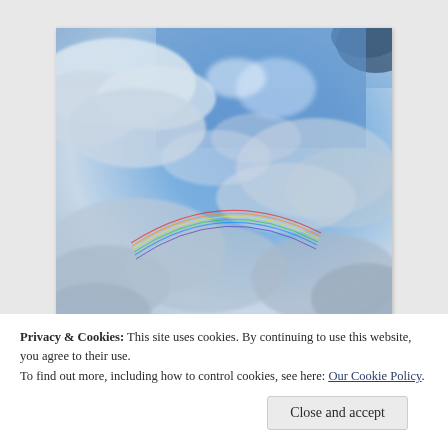[Figure (photo): Photograph of a sky scene showing blue sky with clouds and a circular rainbow halo (circumzenithal arc or 22-degree halo) visible as a colorful arc among the clouds.]
Privacy & Cookies: This site uses cookies. By continuing to use this website, you agree to their use. To find out more, including how to control cookies, see here: Our Cookie Policy
Close and accept